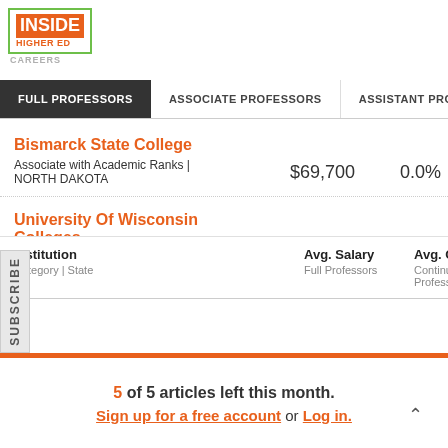[Figure (logo): Inside Higher Ed Careers logo with green border, orange background for INSIDE text]
FULL PROFESSORS | ASSOCIATE PROFESSORS | ASSISTANT PROFESSORS
| Institution
Category | State | Avg. Salary
Full Professors | Avg. Change
Continuing Full Professors |  |
| --- | --- | --- | --- |
| Bismarck State College
Associate with Academic Ranks | NORTH DAKOTA | $69,700 | 0.0% |  |
| University Of Wisconsin Colleges
Associate with Academic Ranks | WISCONSIN | $62,400 | 0.2% |  |
5 of 5 articles left this month.
Sign up for a free account or Log in.